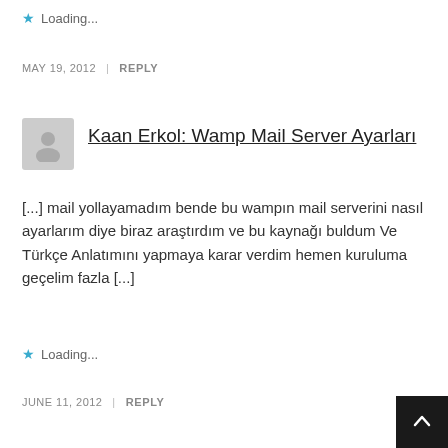★ Loading...
MAY 19, 2012 | REPLY
Kaan Erkol: Wamp Mail Server Ayarları
[...] mail yollayamadım bende bu wampın mail serverini nasıl ayarlarım diye biraz araştırdım ve bu kaynağı buldum Ve Türkçe Anlatımını yapmaya karar verdim hemen kuruluma geçelim fazla [...]
★ Loading...
JUNE 11, 2012 | REPLY